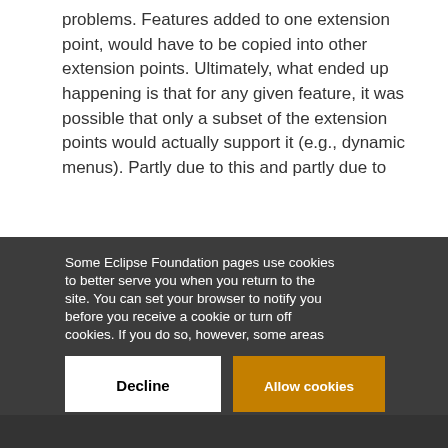problems. Features added to one extension point, would have to be copied into other extension points. Ultimately, what ended up happening is that for any given feature, it was possible that only a subset of the extension points would actually support it (e.g., dynamic menus). Partly due to this and partly due to
[Figure (screenshot): Cookie consent overlay banner on Eclipse Foundation website. Dark gray background with white text reading: 'Some Eclipse Foundation pages use cookies to better serve you when you return to the site. You can set your browser to notify you before you receive a cookie or turn off cookies. If you do so, however, some areas of some sites may not function properly. To read Eclipse Foundation Privacy Policy click here.' Two buttons: 'Decline' (white) and 'Allow cookies' (orange).]